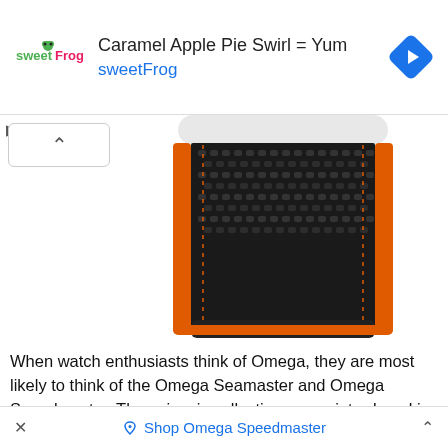[Figure (screenshot): Advertisement banner for sweetFrog with logo, title 'Caramel Apple Pie Swirl = Yum', subtitle 'sweetFrog', and a blue diamond navigation icon on the right]
[Figure (photo): Close-up photo of a black textured watch strap with orange accent lining on the sides, partially showing a white watch case at the top]
When watch enthusiasts think of Omega, they are most likely to think of the Omega Seamaster and Omega Speedmaster. These iconic collections were introduced in 1957 as part of Omega's Professional Line.
Today the Omega Seamaster collection includes the Seamaster 300, the Planet Ocean 600 m,  the Aqua Terra 150 m, the Railmaster, the Diver 300 m, the Bullhead, and
× Shop Omega Speedmaster ^